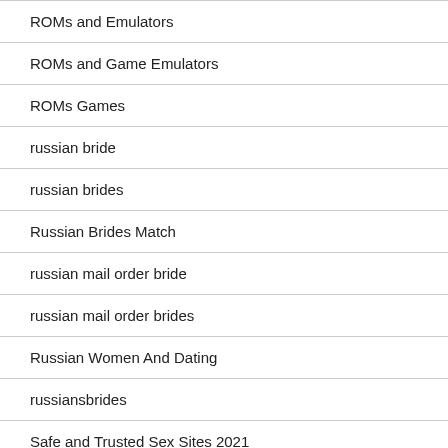ROMs and Emulators
ROMs and Game Emulators
ROMs Games
russian bride
russian brides
Russian Brides Match
russian mail order bride
russian mail order brides
Russian Women And Dating
russiansbrides
Safe and Trusted Sex Sites 2021